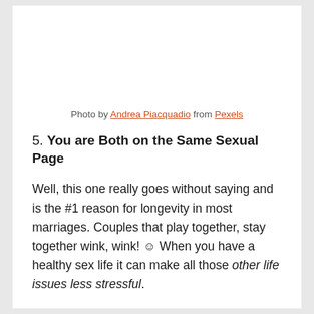Photo by Andrea Piacquadio from Pexels
5. You are Both on the Same Sexual Page
Well, this one really goes without saying and is the #1 reason for longevity in most marriages. Couples that play together, stay together wink, wink! ☺ When you have a healthy sex life it can make all those other life issues less stressful.
Why is that?